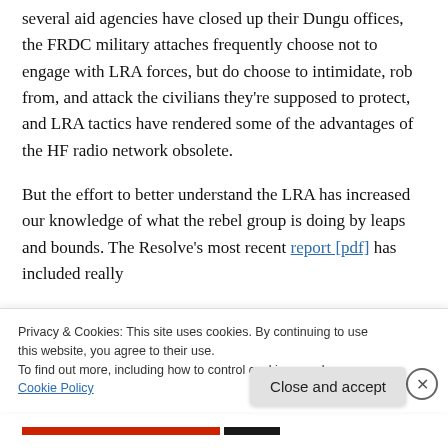several aid agencies have closed up their Dungu offices, the FRDC military attaches frequently choose not to engage with LRA forces, but do choose to intimidate, rob from, and attack the civilians they're supposed to protect, and LRA tactics have rendered some of the advantages of the HF radio network obsolete.
But the effort to better understand the LRA has increased our knowledge of what the rebel group is doing by leaps and bounds. The Resolve's most recent report [pdf] has included really
Privacy & Cookies: This site uses cookies. By continuing to use this website, you agree to their use.
To find out more, including how to control cookies, see here: Cookie Policy